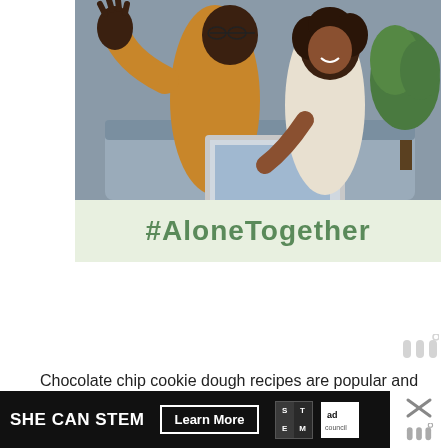[Figure (photo): A man and a young girl sitting on a couch, waving at a laptop screen — a virtual meeting / video call scene. Below the photo is a green-tinted banner with the hashtag #AloneTogether in dark green bold text.]
[Figure (logo): Small grey wordmark/logo (stylized W with degree symbol) appearing at right side near middle of page.]
Chocolate chip cookie dough recipes are popular and easy to find, but safe-to-eat sugar cookie dough is a bit more
[Figure (infographic): Black banner ad at bottom: 'SHE CAN STEM' with 'Learn More' button, STEM logo grid, and Ad Council logo.]
[Figure (logo): Second small grey wordmark at bottom right, with close X above it.]